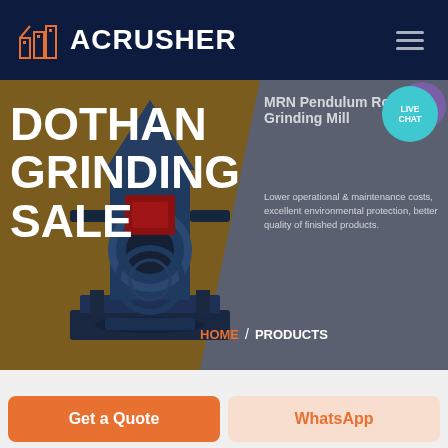[Figure (screenshot): ACRUSHER brand logo — orange building/factory icon next to white bold text 'ACRUSHER' on dark navy background, with hamburger menu icon on right]
DOTHAN GRINDING SALE
[Figure (photo): Industrial grinding/milling machine (pendulum roller mill) rendered in dark blue-grey tones, positioned in the left/center of the hero banner over brown background]
MRN Pendulum Roller Grinding Mill
Lower operational & maintenance costs, excellent environmental protection, better quality of finished products.
HOME / PRODUCTS
Get a Quote
WhatsApp